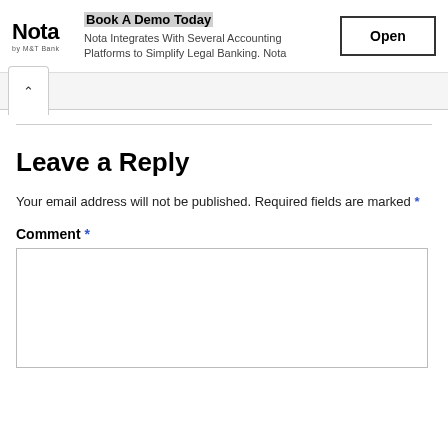[Figure (other): Nota by M&T Bank advertisement banner with logo, title 'Book A Demo Today', description text, and Open button]
Your email address will not be published. Required fields are marked *
Leave a Reply
Comment *